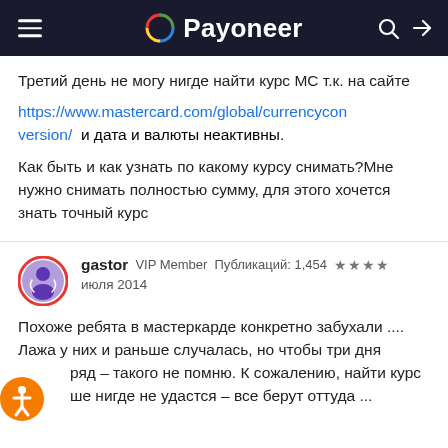Payoneer
Третий день не могу нигде найти курс МС т.к. на сайте https://www.mastercard.com/global/currencyconversion/ и дата и валюты неактивны.

Как быть и как узнать по какому курсу снимать?Мне нужно снимать полностью сумму, для этого хочется знать точный курс
gastor VIP Member Публикаций: 1,454 ★★★★
июля 2014
Похоже ребята в мастеркарде конкретно забухали .... Лажа у них и раньше случалась, но чтобы три дня ряд – такого не помню. К сожалению, найти курс ше нигде не удастся – все берут оттуда ...